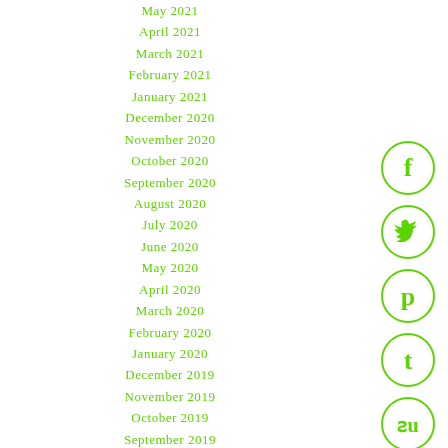May 2021
April 2021
March 2021
February 2021
January 2021
December 2020
November 2020
October 2020
September 2020
August 2020
July 2020
June 2020
May 2020
April 2020
March 2020
February 2020
January 2020
December 2019
November 2019
October 2019
September 2019
August 2019
July 2019
[Figure (illustration): Social media icons: Facebook, Twitter, Pinterest, Tumblr, StumbleUpon — green circle outlines with white symbols]